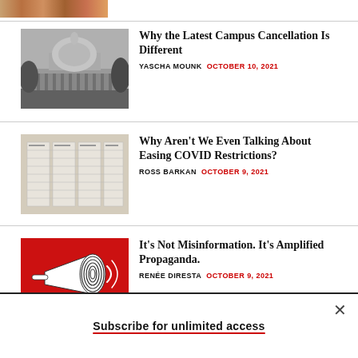[Figure (photo): Colorful horizontal strip image at top]
[Figure (photo): Black and white photo of MIT dome building]
Why the Latest Campus Cancellation Is Different
YASCHA MOUNK  OCTOBER 10, 2021
[Figure (photo): Gray background image with data tables/spreadsheets]
Why Aren’t We Even Talking About Easing COVID Restrictions?
ROSS BARKAN  OCTOBER 9, 2021
[Figure (illustration): Red background with megaphone/bullhorn illustration in black and white spiral pattern]
It’s Not Misinformation. It’s Amplified Propaganda.
RENÉE DIRESTA  OCTOBER 9, 2021
Subscribe for unlimited access